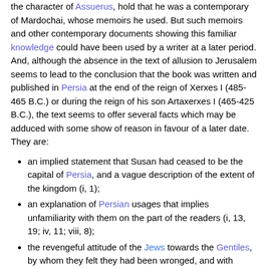the character of Assuerus, hold that he was a contemporary of Mardochai, whose memoirs he used. But such memoirs and other contemporary documents showing this familiar knowledge could have been used by a writer at a later period. And, although the absence in the text of allusion to Jerusalem seems to lead to the conclusion that the book was written and published in Persia at the end of the reign of Xerxes I (485-465 B.C.) or during the reign of his son Artaxerxes I (465-425 B.C.), the text seems to offer several facts which may be adduced with some show of reason in favour of a later date. They are:
an implied statement that Susan had ceased to be the capital of Persia, and a vague description of the extent of the kingdom (i, 1);
an explanation of Persian usages that implies unfamiliarity with them on the part of the readers (i, 13, 19; iv, 11; viii, 8);
the revengeful attitude of the Jews towards the Gentiles, by whom they felt they had been wronged, and with whom they wished to have little to do (iii, 8 sqq.);